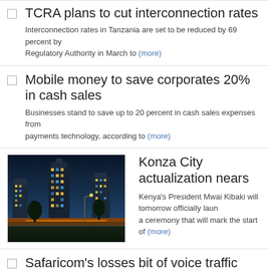TCRA plans to cut interconnection rates
Interconnection rates in Tanzania are set to be reduced by 69 percent by the Regulatory Authority in March to (more)
Mobile money to save corporates 20% in cash sales
Businesses stand to save up to 20 percent in cash sales expenses from payments technology, according to (more)
Konza City actualization nears
Kenya's President Mwai Kibaki will tomorrow officially launch a ceremony that will mark the start of (more)
Safaricom's losses bit of voice traffic market share to
Safaricom was the only mobile network operator in Kenya to have lost some calling category the three months to (more)
Catapult.org to tackle global gender equality using u financial power and actions